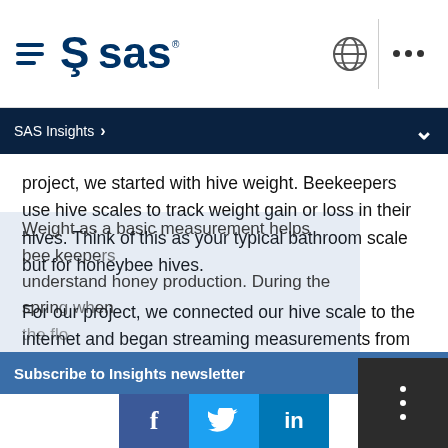SAS logo and navigation bar with hamburger menu, globe icon, and dots menu
SAS Insights >
project, we started with hive weight. Beekeepers use hive scales to track weight gain or loss in their hives. Think of this as your typical bathroom scale but for honeybee hives.
For our project, we connected our hive scale to the internet and began streaming measurements from the scale every minute.
Weight as a basic measurement helps bee keepers understand honey production. During the spring when the flow...
Subscribe to Insights newsletter